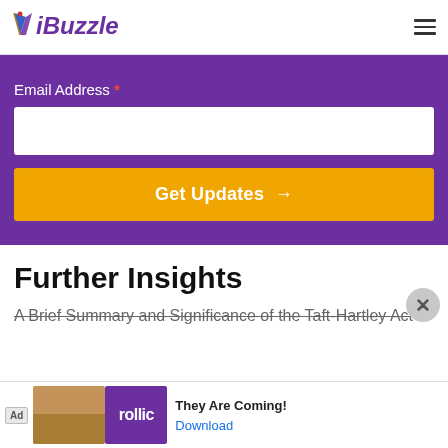iBuzzle
[Figure (other): Email subscription form with purple background, email address input field, and orange 'Get Updates →' button]
Further Insights
A Brief Summary and Significance of the Taft-Hartley Act
[Figure (other): Advertisement banner showing Rollic game ad with 'They Are Coming!' text and Download link]